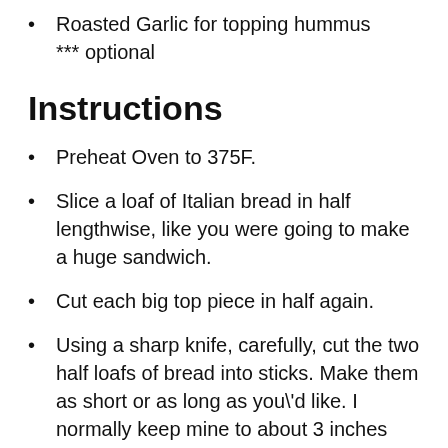Roasted Garlic for topping hummus *** optional
Instructions
Preheat Oven to 375F.
Slice a loaf of Italian bread in half lengthwise, like you were going to make a huge sandwich.
Cut each big top piece in half again.
Using a sharp knife, carefully, cut the two half loafs of bread into sticks. Make them as short or as long as you'd like. I normally keep mine to about 3 inches and I can normally get